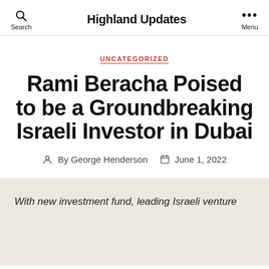Highland Updates
UNCATEGORIZED
Rami Beracha Poised to be a Groundbreaking Israeli Investor in Dubai
By George Henderson   June 1, 2022
With new investment fund, leading Israeli venture